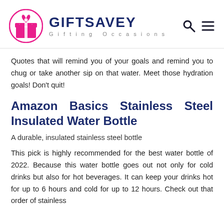GIFTSAVEY Gifting Occasions
Quotes that will remind you of your goals and remind you to chug or take another sip on that water. Meet those hydration goals! Don't quit!
Amazon Basics Stainless Steel Insulated Water Bottle
A durable, insulated stainless steel bottle
This pick is highly recommended for the best water bottle of 2022. Because this water bottle goes out not only for cold drinks but also for hot beverages. It can keep your drinks hot for up to 6 hours and cold for up to 12 hours. Check out that order of stainless